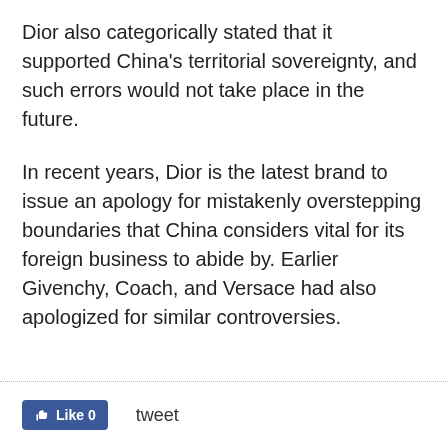Dior also categorically stated that it supported China's territorial sovereignty, and such errors would not take place in the future.
In recent years, Dior is the latest brand to issue an apology for mistakenly overstepping boundaries that China considers vital for its foreign business to abide by. Earlier Givenchy, Coach, and Versace had also apologized for similar controversies.
Like 0   tweet